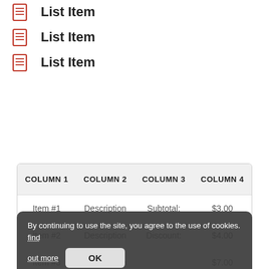List Item
List Item
List Item
| COLUMN 1 | COLUMN 2 | COLUMN 3 | COLUMN 4 |
| --- | --- | --- | --- |
| Item #1 | Description | Subtotal: | $3.00 |
| Item #2 | Description | Discount: | $4.00 |
| Item #3 | Description | — | $7.00 |
| Item #4 | Description | Tax: | $6.00 |
By continuing to use the site, you agree to the use of cookies. find out more OK